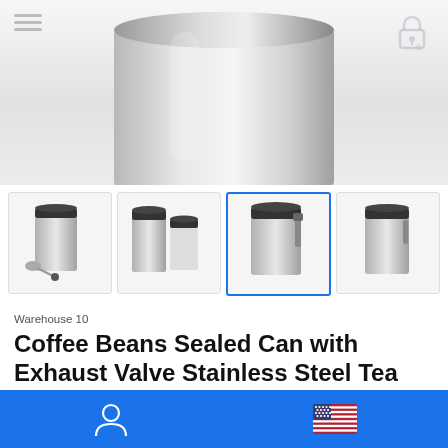[Figure (photo): Close-up top view of a stainless steel coffee canister with black lid, partially cropped. Dollarstore watermark visible. Hamburger menu icon top-left, lock icon top-right.]
[Figure (photo): Row of four product thumbnail images showing stainless steel coffee canisters from different angles. Third thumbnail is selected (blue border).]
Warehouse 10
Coffee Beans Sealed Can with Exhaust Valve Stainless Steel Tea Canister
☆☆☆☆☆ (No reviews)
[Figure (other): Blue bottom navigation bar with user/account icon on left and US flag icon on right.]